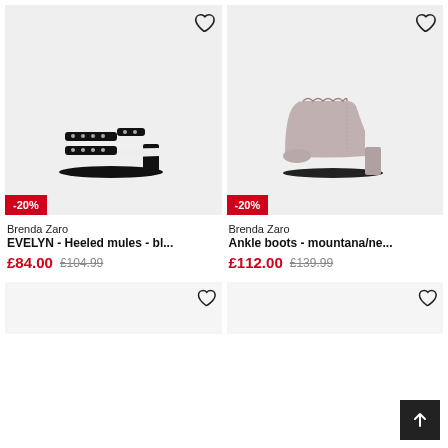[Figure (photo): Black heeled mules with studded straps (Brenda Zaro EVELYN), with -20% badge and heart icon]
Brenda Zaro
EVELYN - Heeled mules - bl...
£84.00  £104.99
[Figure (photo): Light taupe/grey suede ankle boots with scalloped detail (Brenda Zaro), with -20% badge and heart icon]
Brenda Zaro
Ankle boots - mountana/ne...
£112.00  £139.99
[Figure (photo): Bottom-left product card (partially visible), with heart icon]
[Figure (photo): Bottom-right product card (partially visible), with heart icon]